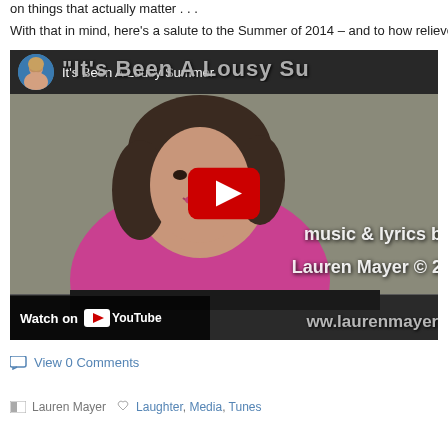on things that actually matter . . .
With that in mind, here's a salute to the Summer of 2014 – and to how relieved we
[Figure (screenshot): YouTube video embed showing a woman in a pink/magenta top sitting at a piano, with text overlay reading 'It's Been A Lousy Su...' as title and 'music & lyrics b... Lauren Mayer © 2...' and 'www.laurenmayer.' at bottom. A YouTube play button is centered. Top bar shows avatar circle and title 'It's Been A Lousy Summer'. Bottom left shows 'Watch on YouTube' bar.]
View 0 Comments
Lauren Mayer   Laughter, Media, Tunes